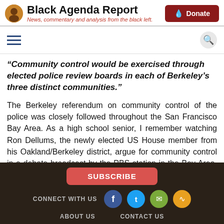Black Agenda Report — News, commentary and analysis from the black left.
"Community control would be exercised through elected police review boards in each of Berkeley's three distinct communities."
The Berkeley referendum on community control of the police was closely followed throughout the San Francisco Bay Area. As a high school senior, I remember watching Ron Dellums, the newly elected US House member from his Oakland/Berkeley district, argue for community control in a debate broadcast by the PBS station in the Bay Area, KQED. Though the community control initiative was portrayed as an anti-police measure by its opponents, proponents like Black
SUBSCRIBE  CONNECT WITH US  ABOUT US  CONTACT US